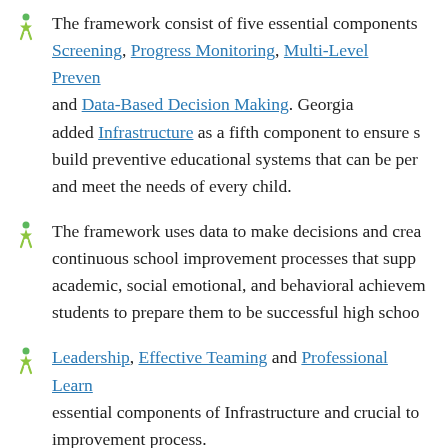The framework consist of five essential components: Screening, Progress Monitoring, Multi-Level Prevention and Data-Based Decision Making. Georgia added Infrastructure as a fifth component to ensure schools build preventive educational systems that can be personalized and meet the needs of every child.
The framework uses data to make decisions and create continuous school improvement processes that support academic, social emotional, and behavioral achievement of students to prepare them to be successful high school graduates.
Leadership, Effective Teaming and Professional Learning are essential components of Infrastructure and crucial to the improvement process.